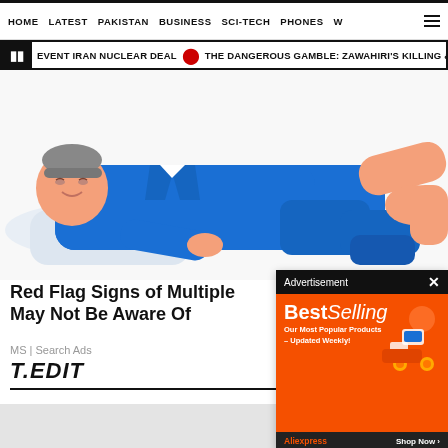HOME | LATEST | PAKISTAN | BUSINESS | SCI-TECH | PHONES | W
EVENT IRAN NUCLEAR DEAL  THE DANGEROUS GAMBLE: ZAWAHIRI'S KILLING & TA
[Figure (illustration): Illustration of a person lying down in a blue suit on a white surface, with hands reaching in from the sides]
Red Flag Signs of Multiple Sclerosis You May Not Be Aware Of
MS | Search Ads
T.EDIT
[Figure (screenshot): Advertisement overlay showing BestSelling on orange background with AliExpress branding and Shop Now button]